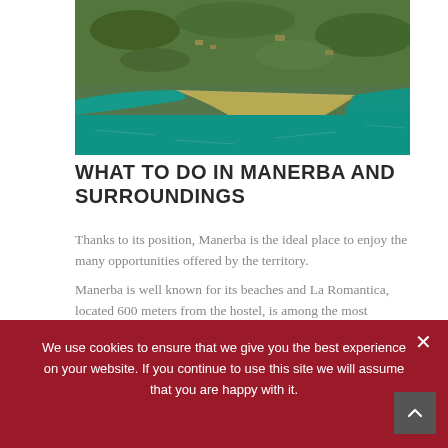[Figure (photo): Aerial photo of Manerba del Garda showing a sandy beach peninsula, turquoise lake water on both sides, green vegetation and urban landscape in the background.]
WHAT TO DO IN MANERBA AND SURROUNDINGS
Thanks to its position, Manerba is the ideal place to enjoy the many opportunities offered by the territory. Manerba is well known for its beaches and La Romantica, located 600 meters from the hostel, is among the most beautiful on Lake Garda. This
We use cookies to ensure that we give you the best experience on your website. If you continue to use this site we will assume that you are happy with it.